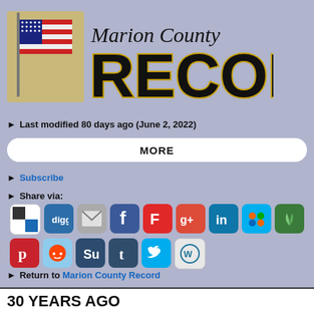[Figure (logo): Marion County Record newspaper logo with American flag and bold RECORD text in black with gold outline]
▶ Last modified 80 days ago (June 2, 2022)
MORE
▶ Subscribe
▶ Share via:
[Figure (infographic): Row of social media sharing icons: CheckMarkNews, Digg, Email, Facebook, Flipboard, Google+, LinkedIn, MSN, MeWe; Pinterest, Reddit, StumbleUpon, Tumblr, Twitter, WordPress]
▶ Return to Marion County Record
30 YEARS AGO